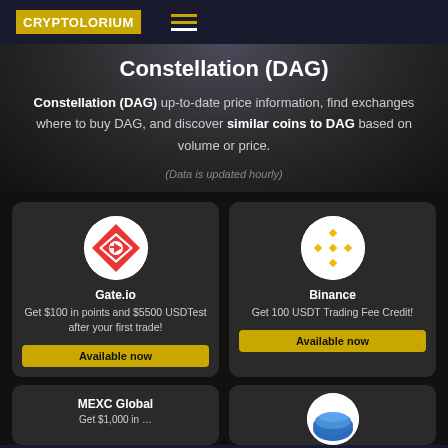CRYPTOLORIUM
Constellation (DAG)
Constellation (DAG) up-to-date price information, find exchanges where to buy DAG, and discover similar coins to DAG based on volume or price.
(Data is updated hourly)
[Figure (logo): Gate.io exchange logo - red diamond/shield shape with G arrow symbol on white circle]
Gate.io
Get $100 in points and $5500 USDTest after your first trade!
[Figure (logo): Binance exchange logo - golden diamond pattern on white circle]
Binance
Get 100 USDT Trading Fee Credit!
MEXC Global
[Figure (logo): Partially visible exchange logo - blue and white globe/hemisphere on white circle]